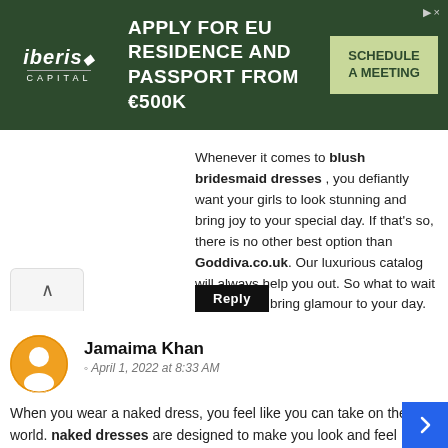[Figure (other): Advertisement banner for Iberis Capital: 'Apply for EU Residence and Passport from €500K' with a 'Schedule a Meeting' CTA button on dark green background]
Whenever it comes to blush bridesmaid dresses , you defiantly want your girls to look stunning and bring joy to your special day. If that's so, there is no other best option than Goddiva.co.uk. Our luxurious catalog will always help you out. So what to wait for? Go and bring glamour to your day.
Reply
Jamaima Khan
April 1, 2022 at 8:33 AM
When you wear a naked dress, you feel like you can take on the world. naked dresses are designed to make you look and feel confident and beautiful. They're perfect for any special occasion, from weddings to galas, and they always turn heads. Goddiva's new collection of naked dresses offers something for everyone. Whether you're looking for a sleek and sex